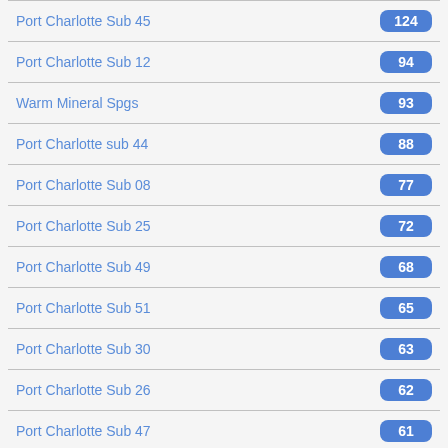Port Charlotte Sub 45
Port Charlotte Sub 12
Warm Mineral Spgs
Port Charlotte sub 44
Port Charlotte Sub 08
Port Charlotte Sub 25
Port Charlotte Sub 49
Port Charlotte Sub 51
Port Charlotte Sub 30
Port Charlotte Sub 26
Port Charlotte Sub 47
Port Charlotte Sub 46
Port Charlotte Sub 22